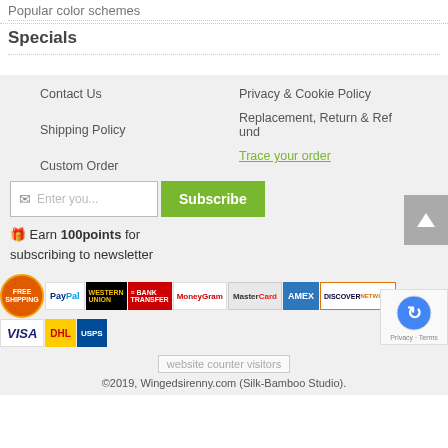Popular color schemes
Specials
Contact Us
Privacy & Cookie Policy
Shipping Policy
Replacement, Return & Refund
Custom Order
Trace your order
Enter you...   Subscribe
🎁 Earn 100points for subscribing to newsletter
[Figure (infographic): Payment method badges: Free Shipping, PayPal, Western Union, Bank Transfer, MoneyGram, MasterCard, AMEX, Discover, VISA, DHL, USPS]
[website counter visitors]
©2019, Wingedsirenny.com (Silk-Bamboo Studio).